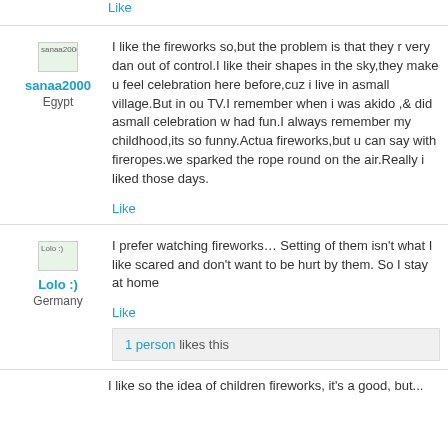Like
[Figure (other): Avatar thumbnail for user sanaa2000]
sanaa2000
Egypt
I like the fireworks so,but the problem is that they r very dan out of control.I like their shapes in the sky,they make u feel celebration here before,cuz i live in asmall village.But in ou TV.I remember when i was akido ,& did asmall celebration w had fun.I always remember my childhood,its so funny.Actua fireworks,but u can say with fireropes.we sparked the rope round on the air.Really i liked those days.
Like
[Figure (other): Avatar thumbnail for user Lolo :)]
Lolo :)
Germany
I prefer watching fireworks… Setting of them isn't what I like scared and don't want to be hurt by them. So I stay at home
Like
1 person likes this
I like so the idea of children fireworks, it's a good, but...